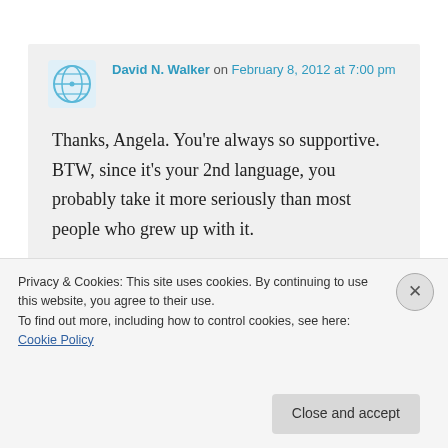David N. Walker on February 8, 2012 at 7:00 pm
Thanks, Angela. You're always so supportive. BTW, since it's your 2nd language, you probably take it more seriously than most people who grew up with it.
★ Like
Privacy & Cookies: This site uses cookies. By continuing to use this website, you agree to their use.
To find out more, including how to control cookies, see here: Cookie Policy
Close and accept